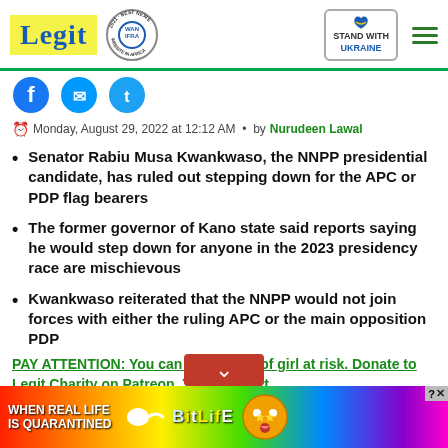Legit | WAN IFRA 2021 Best News Website in Africa | Stand with Ukraine
[Figure (screenshot): Social media share icons: Facebook, Messenger, Twitter]
Monday, August 29, 2022 at 12:12 AM • by Nurudeen Lawal
Senator Rabiu Musa Kwankwaso, the NNPP presidential candidate, has ruled out stepping down for the APC or PDP flag bearers
The former governor of Kano state said reports saying he would step down for anyone in the 2023 presidency race are mischievous
Kwankwaso reiterated that the NNPP would not join forces with either the ruling APC or the main opposition PDP
PAY ATTENTION: You can save a live of girl at risk. Donate to Legit Charity on Patreon. Your support
[Figure (screenshot): BitLife advertisement banner: When real life is quarantined - BitLife game ad with rainbow background]